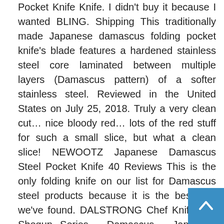Pocket Knife Knife. I didn't buy it because I wanted BLING. Shipping This traditionally made Japanese damascus folding pocket knife's blade features a hardened stainless steel core laminated between multiple layers (Damascus pattern) of a softer stainless steel. Reviewed in the United States on July 25, 2018. Truly a very clean cut... nice bloody red... lots of the red stuff for such a small slice, but what a clean slice! NEWOOTZ Japanese Damascus Steel Pocket Knife 40 Reviews This is the only folding knife on our list for Damascus steel products because it is the best one we've found. DALSTRONG Chef Knife - 7" Shogun Series - Damascus - Japanese AUS-10V Super Steel -G10 Handle - w/Sheath, Higo no Kami 10 Pocket Knife by Nagao Seisakusho, Brass Finish, NEWOOTZ EDC Folding Pocket Knife with Leather Sheath,Bohler M390 High-Speed Steel Slim 4in Blade,Ironwood or Titanium Handle with Lock,Tanto Style Gentleman's Knife for Men, Higonokami Folding Knife – SK Steel 120mm Black, FREE Ship
[Figure (other): Back to top button — a teal/blue square button with an upward-pointing chevron arrow icon in white.]